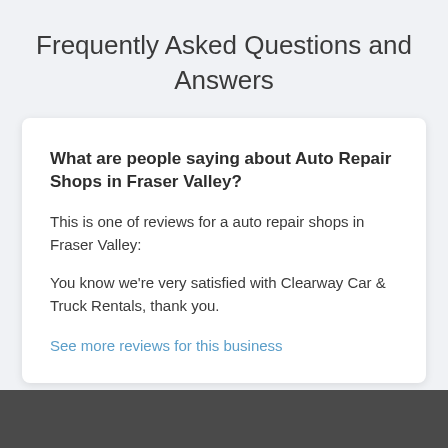Frequently Asked Questions and Answers
What are people saying about Auto Repair Shops in Fraser Valley?
This is one of reviews for a auto repair shops in Fraser Valley:
You know we're very satisfied with Clearway Car & Truck Rentals, thank you.
See more reviews for this business